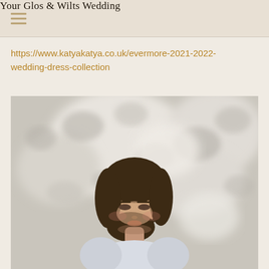Your Glos & Wilts Wedding
https://www.katyakatya.co.uk/evermore-2021-2022-wedding-dress-collection
[Figure (photo): A young woman with shoulder-length brown hair looking downward, wearing a light-coloured top, against a soft blurred background with dappled light and leaf shadow patterns in grey and white tones.]